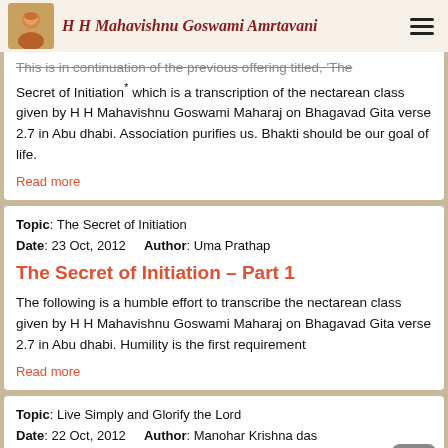H H Mahavishnu Goswami Amrtavani
This is in continuation of the previous offering titled, 'The Secret of Initiation' which is a transcription of the nectarean class given by H H Mahavishnu Goswami Maharaj on Bhagavad Gita verse 2.7 in Abu dhabi. Association purifies us. Bhakti should be our goal of life.
Read more
Topic: The Secret of Initiation
Date: 23 Oct, 2012    Author: Uma Prathap
The Secret of Initiation – Part 1
The following is a humble effort to transcribe the nectarean class given by H H Mahavishnu Goswami Maharaj on Bhagavad Gita verse 2.7 in Abu dhabi. Humility is the first requirement
Read more
Topic: Live Simply and Glorify the Lord
Date: 22 Oct, 2012    Author: Manohar Krishna das